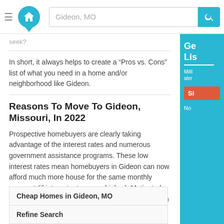Gideon, MO [search bar with logo]
seek?
In short, it always helps to create a “Pros vs. Cons” list of what you need in a home and/or neighborhood like Gideon.
Reasons To Move To Gideon, Missouri, In 2022
Prospective homebuyers are clearly taking advantage of the interest rates and numerous government assistance programs. These low interest rates mean homebuyers in Gideon can now afford much more house for the same monthly payment (if interest rates were higher). Motivated and opportunistic sellers in Gideon, meanwhile, can field multiple offers from more qualified buyers.
Cheap Homes in Gideon, MO
Refine Search